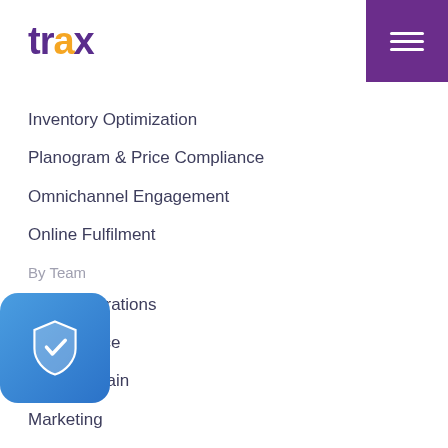[Figure (logo): Trax logo with purple and yellow text]
Inventory Optimization
Planogram & Price Compliance
Omnichannel Engagement
Online Fulfilment
By Team
Store Operations
eCommerce
Supply Chain
Marketing
SOLUTIONS
Trax Perfect Store
Trax Field Optimizer
Trax Category Excellence